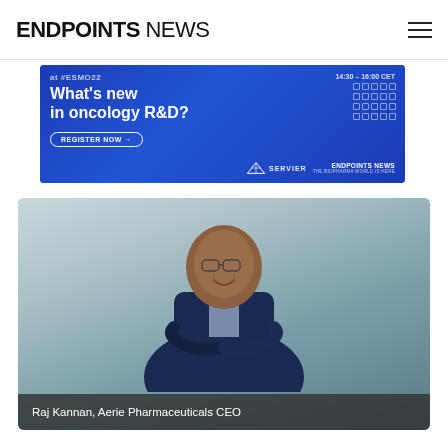ENDPOINTS NEWS
[Figure (infographic): Blue advertisement banner for Servier and Endpoints News at #ESMO22 event, 14:30-16:00 CET. Headline: What's new in oncology R&D? with Register Now button.]
[Figure (photo): Portrait photo of Raj Kannan, Aerie Pharmaceuticals CEO, a man in a dark suit with arms crossed, smiling, in a modern building corridor with blurred background.]
Raj Kannan, Aerie Pharmaceuticals CEO